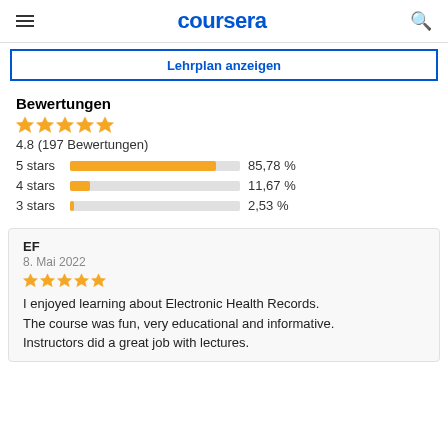coursera
Lehrplan anzeigen
Bewertungen
[Figure (other): 5 gold stars rating]
4.8 (197 Bewertungen)
[Figure (bar-chart): Star ratings]
EF
8. Mai 2022
[Figure (other): 5 gold stars rating for review]
I enjoyed learning about Electronic Health Records. The course was fun, very educational and informative. Instructors did a great job with lectures.